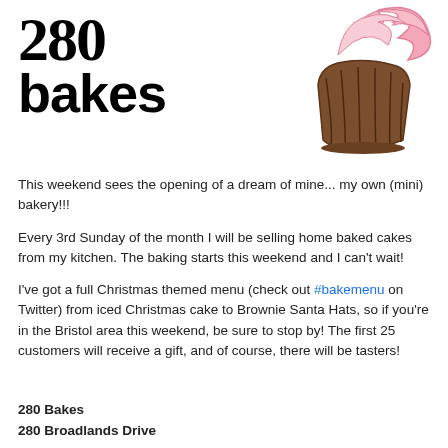[Figure (logo): 280 Bakes logo: large bold text '280' and 'bakes' on the left, with a stylized cupcake illustration (pink swirl frosting and brown base with decorative lines) on the right]
This weekend sees the opening of a dream of mine... my own (mini) bakery!!!
Every 3rd Sunday of the month I will be selling home baked cakes from my kitchen. The baking starts this weekend and I can't wait!
I've got a full Christmas themed menu (check out #bakemenu on Twitter) from iced Christmas cake to Brownie Santa Hats, so if you're in the Bristol area this weekend, be sure to stop by! The first 25 customers will receive a gift, and of course, there will be tasters!
280 Bakes
280 Broadlands Drive